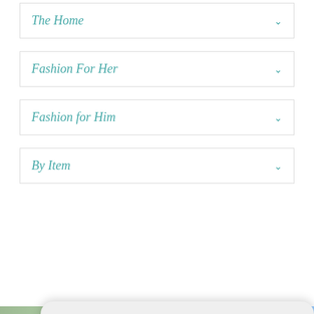The Home
Fashion For Her
Fashion for Him
By Item
HOW DID YOU FIND US TODAY?
Facebook Ad
Visiting Santa Fe?
Google Search
Other (please specify)
SUBMIT